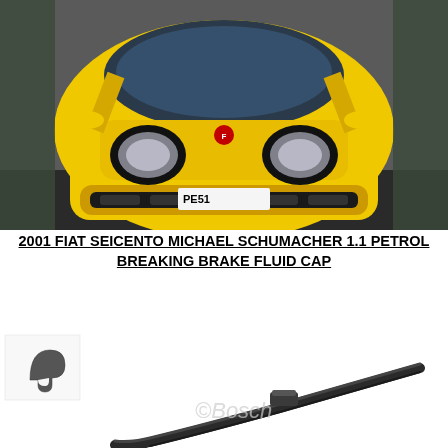[Figure (photo): Front view of a yellow 2001 Fiat Seicento Michael Schumacher edition car with license plate PE51, photographed outdoors on a dark surface.]
2001 FIAT SEICENTO MICHAEL SCHUMACHER 1.1 PETROL BREAKING BRAKE FLUID CAP
[Figure (photo): Small wiper blade connector/hook piece shown in top-left corner, and a full Bosch flat wiper blade shown diagonally below with a Bosch watermark copyright logo.]